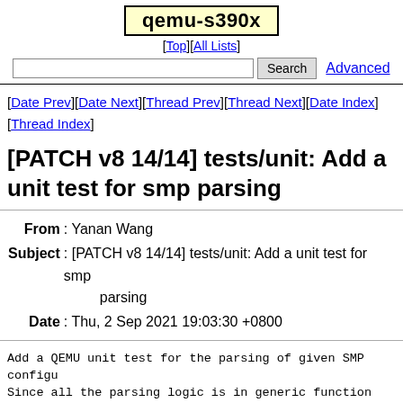qemu-s390x
[Top][All Lists]
Search  Advanced
[Date Prev][Date Next][Thread Prev][Thread Next][Date Index][Thread Index]
[PATCH v8 14/14] tests/unit: Add a unit test for smp parsing
| Field | Value |
| --- | --- |
| From | Yanan Wang |
| Subject | [PATCH v8 14/14] tests/unit: Add a unit test for smp parsing |
| Date | Thu, 2 Sep 2021 19:03:30 +0800 |
Add a QEMU unit test for the parsing of given SMP configurations. Since all the parsing logic is in generic function smp_parse(), this test passes different SMP configurations to the function and compare the parsing result with what is expected.

In the test, all possible collections of the topology parameters and the corresponding expected results are listed, including